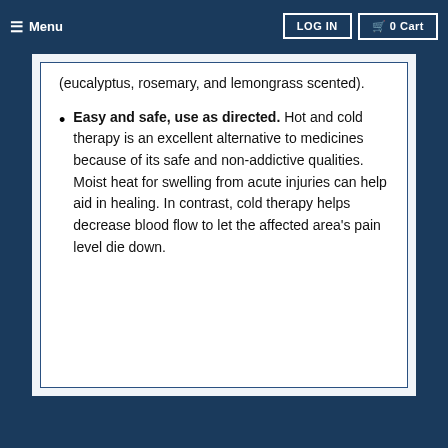≡ Menu  LOG IN  🛒 0 Cart
(eucalyptus, rosemary, and lemongrass scented).
Easy and safe, use as directed. Hot and cold therapy is an excellent alternative to medicines because of its safe and non-addictive qualities. Moist heat for swelling from acute injuries can help aid in healing. In contrast, cold therapy helps decrease blood flow to let the affected area's pain level die down.